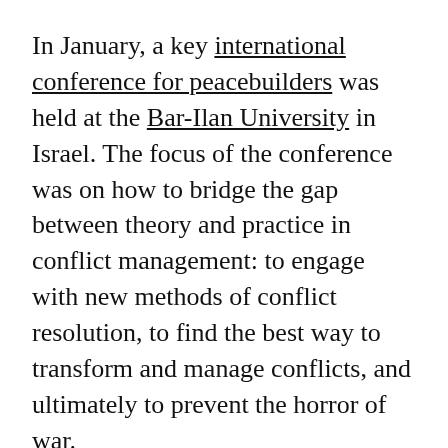In January, a key international conference for peacebuilders was held at the Bar-Ilan University in Israel. The focus of the conference was on how to bridge the gap between theory and practice in conflict management: to engage with new methods of conflict resolution, to find the best way to transform and manage conflicts, and ultimately to prevent the horror of war.
The next generation will always be key to resolving conflict. As such, the opening panel of the conference discussed how to personally engage students in teaching